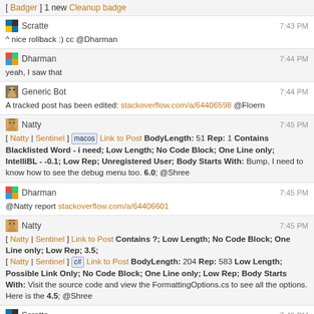[ Badger ] 1 new Cleanup badge
Scratte 7:43 PM
^ nice rollback :) cc @Dharman
Dharman 7:44 PM
yeah, I saw that
Generic Bot 7:44 PM
A tracked post has been edited: stackoverflow.com/a/64406598 @Floern
Natty 7:45 PM
[ Natty | Sentinel ] macos Link to Post BodyLength: 51 Rep: 1 Contains Blacklisted Word - i need; Low Length; No Code Block; One Line only; IntelliBL - -0.1; Low Rep; Unregistered User; Body Starts With: Bump, I need to know how to see the debug menu too. 6.0; @Shree
Dharman 7:45 PM
@Natty report stackoverflow.com/a/64406601
Natty 7:45 PM
[ Natty | Sentinel ] Link to Post Contains ?; Low Length; No Code Block; One Line only; Low Rep; 3.5;
[ Natty | Sentinel ] c# Link to Post BodyLength: 204 Rep: 583 Low Length; Possible Link Only; No Code Block; One Line only; Low Rep; Body Starts With: Visit the source code and view the FormattingOptions.cs to see all the options. Here is the 4.5; @Shree
Scratte 7:49 PM